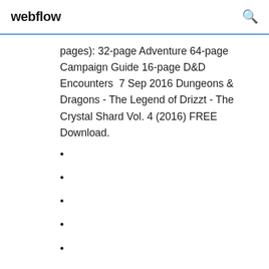webflow
pages): 32-page Adventure 64-page Campaign Guide 16-page D&D Encounters  7 Sep 2016 Dungeons & Dragons - The Legend of Drizzt - The Crystal Shard Vol. 4 (2016) FREE Download.